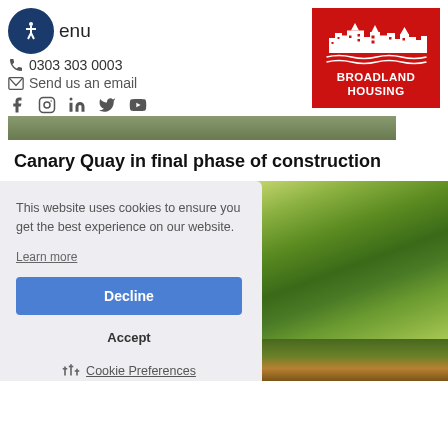Menu | 0303 303 0003 | Send us an email | Broadland Housing
[Figure (logo): Broadland Housing logo — red background with white building/village skyline illustration and text BROADLAND HOUSING]
[Figure (photo): Hero banner image strip showing garden/outdoor scene]
Canary Quay in final phase of construction
[Figure (photo): Garden photo with lush green plants and foliage]
This website uses cookies to ensure you get the best experience on our website.
Learn more
Decline
Accept
Cookie Preferences